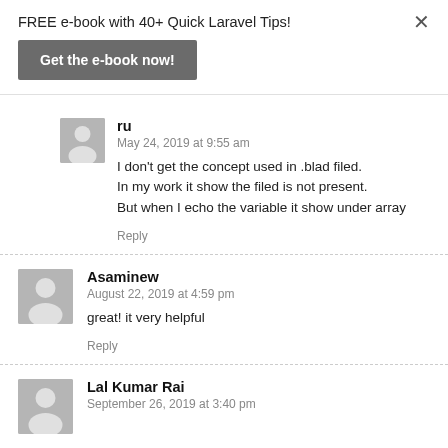FREE e-book with 40+ Quick Laravel Tips!
Get the e-book now!
× (close button)
ru
May 24, 2019 at 9:55 am
I don't get the concept used in .blad filed.
In my work it show the filed is not present.
But when I echo the variable it show under array
Reply
Asaminew
August 22, 2019 at 4:59 pm
great! it very helpful
Reply
Lal Kumar Rai
September 26, 2019 at 3:40 pm